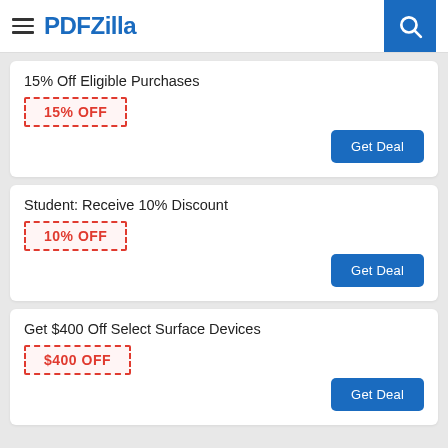PDFZilla
15% Off Eligible Purchases
15% OFF
Get Deal
Student: Receive 10% Discount
10% OFF
Get Deal
Get $400 Off Select Surface Devices
$400 OFF
Get Deal